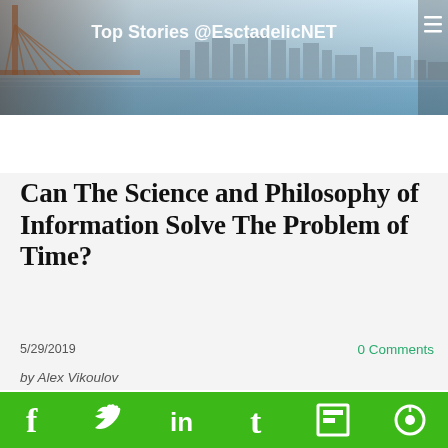[Figure (photo): Header banner with city skyline (San Francisco Bay Area with bridge) and text 'Top Stories @EsctadelicNET']
Can The Science and Philosophy of Information Solve The Problem of Time?
5/29/2019
0 Comments
by Alex Vikoulov
[Figure (photo): Nebula / space image with text overlay 'The Physics of Time']
[Figure (infographic): Green social media sharing bar with icons for Facebook, Twitter, LinkedIn, Tumblr, Flipboard, and another social platform]